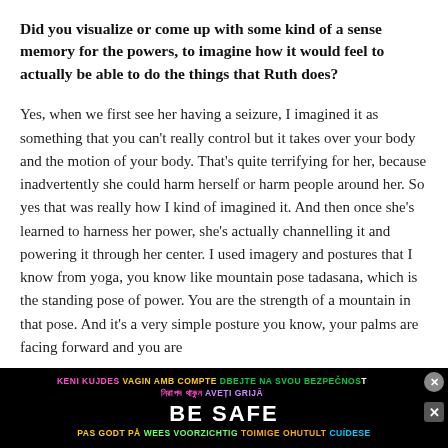Did you visualize or come up with some kind of a sense memory for the powers, to imagine how it would feel to actually be able to do the things that Ruth does?
Yes, when we first see her having a seizure, I imagined it as something that you can't really control but it takes over your body and the motion of your body. That's quite terrifying for her, because inadvertently she could harm herself or harm people around her. So yes that was really how I kind of imagined it. And then once she's learned to harness her power, she's actually channelling it and powering it through her center. I used imagery and postures that I know from yoga, you know like mountain pose tadasana, which is the standing pose of power. You are the strength of a mountain in that pose. And it's a very simple posture you know, your palms are facing forward and you are
[Figure (other): Advertisement banner: multilingual safety awareness banner reading BE SAFE in large white text, with phrases in multiple languages (Catalan, Czech, Bengali, Romanian, Norwegian, Dutch, Estonian, Spanish) in various colors (pink, yellow, green, purple, white) on a black background. Close buttons visible.]